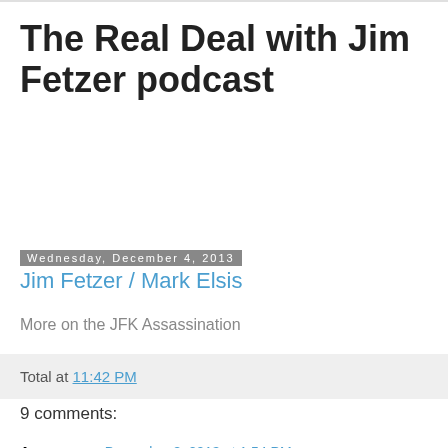The Real Deal with Jim Fetzer podcast
Wednesday, December 4, 2013
Jim Fetzer / Mark Elsis
More on the JFK Assassination
Total at 11:42 PM
9 comments:
Anonymous December 8, 2013 at 1:54 PM
Why bother worrying about what the m s m says .
Reply